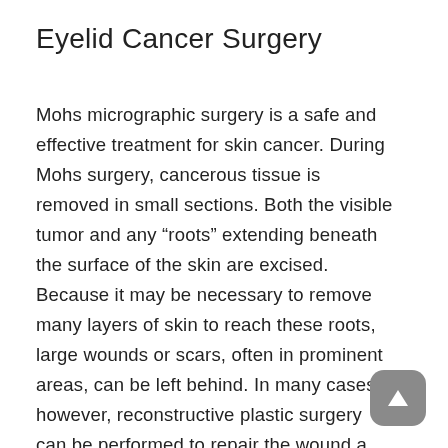Eyelid Cancer Surgery
Mohs micrographic surgery is a safe and effective treatment for skin cancer. During Mohs surgery, cancerous tissue is removed in small sections. Both the visible tumor and any “roots” extending beneath the surface of the skin are excised. Because it may be necessary to remove many layers of skin to reach these roots, large wounds or scars, often in prominent areas, can be left behind. In many cases, however, reconstructive plastic surgery can be performed to repair the wound and improve the skin’s appearance.